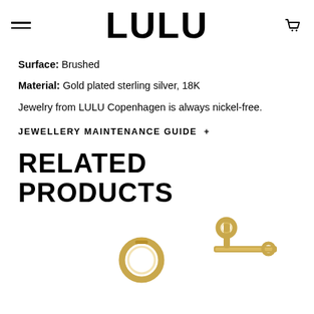LULU
Surface: Brushed
Material: Gold plated sterling silver, 18K
Jewelry from LULU Copenhagen is always nickel-free.
JEWELLERY MAINTENANCE GUIDE +
RELATED PRODUCTS
[Figure (photo): Gold jewelry product images — gold hoop earring and gold bar ear stud partially visible at bottom of page]